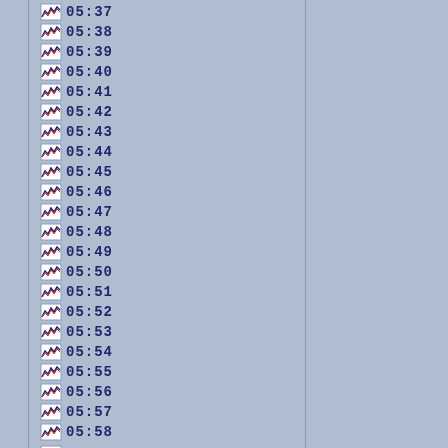05:37
05:38
05:39
05:40
05:41
05:42
05:43
05:44
05:45
05:46
05:47
05:48
05:49
05:50
05:51
05:52
05:53
05:54
05:55
05:56
05:57
05:58
06:00